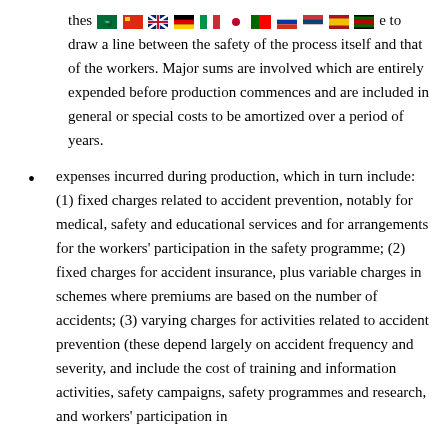these [flags] to draw a line between the safety of the process itself and that of the workers. Major sums are involved which are entirely expended before production commences and are included in general or special costs to be amortized over a period of years.
expenses incurred during production, which in turn include: (1) fixed charges related to accident prevention, notably for medical, safety and educational services and for arrangements for the workers' participation in the safety programme; (2) fixed charges for accident insurance, plus variable charges in schemes where premiums are based on the number of accidents; (3) varying charges for activities related to accident prevention (these depend largely on accident frequency and severity, and include the cost of training and information activities, safety campaigns, safety programmes and research, and workers' participation in